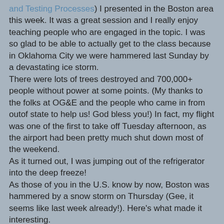and Testing Processes) I presented in the Boston area this week. It was a great session and I really enjoy teaching people who are engaged in the topic. I was so glad to be able to actually get to the class because in Oklahoma City we were hammered last Sunday by a devastating ice storm.
There were lots of trees destroyed and 700,000+ people without power at some points. (My thanks to the folks at OG&E and the people who came in from outof state to help us! God bless you!) In fact, my flight was one of the first to take off Tuesday afternoon, as the airport had been pretty much shut down most of the weekend.
As it turned out, I was jumping out of the refrigerator into the deep freeze!
As those of you in the U.S. know by now, Boston was hammered by a snow storm on Thursday (Gee, it seems like last week already!). Here's what made it interesting.
Despite the warnings and planning, most of the state was paralyzed. In fact, the warnings may have actually